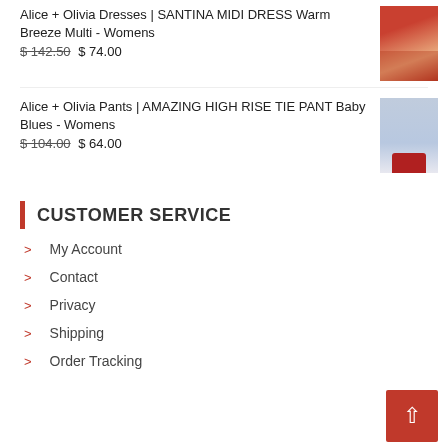Alice + Olivia Dresses | SANTINA MIDI DRESS Warm Breeze Multi - Womens
$ 142.50 $ 74.00
[Figure (photo): Product photo of a floral midi dress on a model]
Alice + Olivia Pants | AMAZING HIGH RISE TIE PANT Baby Blues - Womens
$ 104.00 $ 64.00
[Figure (photo): Product photo of light blue high rise tie pants on a model with red shoes]
CUSTOMER SERVICE
My Account
Contact
Privacy
Shipping
Order Tracking